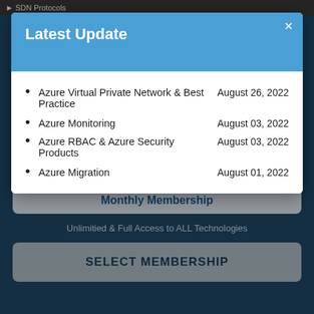SDN Protocols
Latest Update
Azure Virtual Private Network & Best Practice    August 26, 2022
Azure Monitoring    August 03, 2022
Azure RBAC & Azure Security Products    August 03, 2022
Azure Migration    August 01, 2022
Monthly Membership
Unlimitied & Full Access to ALL Technologies
SELECT MEMBERSHIP